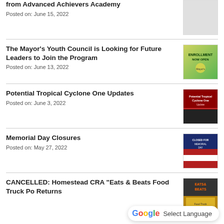from Advanced Achievers Academy
Posted on: June 15, 2022
The Mayor's Youth Council is Looking for Future Leaders to Join the Program
Posted on: June 13, 2022
[Figure (photo): Enrollment Now Open flyer with tropical background]
Potential Tropical Cyclone One Updates
Posted on: June 3, 2022
[Figure (photo): Potential Tropical Cyclone One Updates flyer, red warning background]
Memorial Day Closures
Posted on: May 27, 2022
[Figure (photo): Memorial Day Closures flyer with US flag motif]
CANCELLED: Homestead CRA "Eats & Beats Food Truck Po Returns
[Figure (photo): Eats & Beats food truck event flyer]